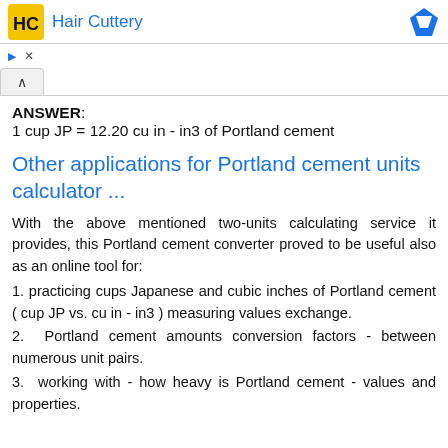[Figure (other): Advertisement banner for Hair Cuttery with logo on left and blue logo on right]
ANSWER:
1 cup JP = 12.20 cu in - in3 of Portland cement
Other applications for Portland cement units calculator ...
With the above mentioned two-units calculating service it provides, this Portland cement converter proved to be useful also as an online tool for:
1. practicing cups Japanese and cubic inches of Portland cement ( cup JP vs. cu in - in3 ) measuring values exchange.
2. Portland cement amounts conversion factors - between numerous unit pairs.
3. working with - how heavy is Portland cement - values and properties.